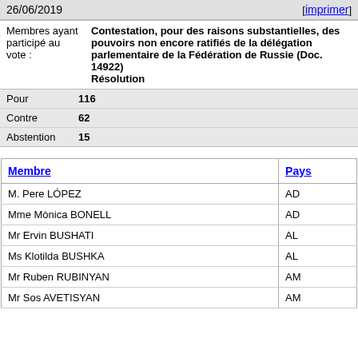26/06/2019   [imprimer]
| Membres ayant participé au vote sur : | Contestation, pour des raisons substantielles, des pouvoirs non encore ratifiés de la délégation parlementaire de la Fédération de Russie (Doc. 14922) Résolution |
| Pour | 116 |
| Contre | 62 |
| Abstention | 15 |
| Membre | Pays |
| --- | --- |
| M. Pere LÓPEZ | AD |
| Mme Mònica BONELL | AD |
| Mr Ervin BUSHATI | AL |
| Ms Klotilda BUSHKA | AL |
| Mr Ruben RUBINYAN | AM |
| Mr Sos AVETISYAN | AM |